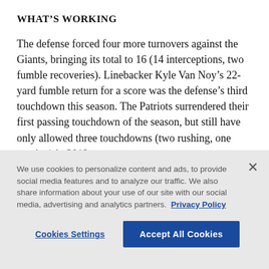WHAT'S WORKING
The defense forced four more turnovers against the Giants, bringing its total to 16 (14 interceptions, two fumble recoveries). Linebacker Kyle Van Noy’s 22-yard fumble return for a score was the defense’s third touchdown this season. The Patriots surrendered their first passing touchdown of the season, but still have only allowed three touchdowns (two rushing, one passing) in 2019.
We use cookies to personalize content and ads, to provide social media features and to analyze our traffic. We also share information about your use of our site with our social media, advertising and analytics partners. Privacy Policy
Cookies Settings
Accept All Cookies